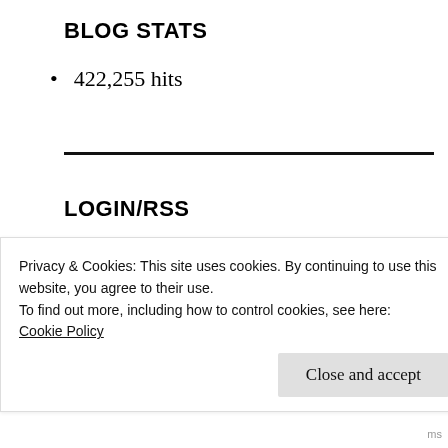BLOG STATS
422,255 hits
LOGIN/RSS
Register
Log in
Entries feed
Privacy & Cookies: This site uses cookies. By continuing to use this website, you agree to their use.
To find out more, including how to control cookies, see here:
Cookie Policy
Close and accept